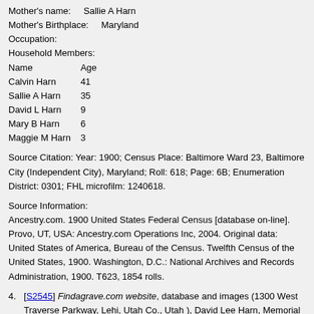Mother's name:     Sallie A Harn
Mother's Birthplace:     Maryland
Occupation:
Household Members:
Name     Age
Calvin Harn     41
Sallie A Harn     35
David L Harn     9
Mary B Harn     6
Maggie M Harn     3
Source Citation: Year: 1900; Census Place: Baltimore Ward 23, Baltimore City (Independent City), Maryland; Roll: 618; Page: 6B; Enumeration District: 0301; FHL microfilm: 1240618.
Source Information:
Ancestry.com. 1900 United States Federal Census [database on-line]. Provo, UT, USA: Ancestry.com Operations Inc, 2004. Original data: United States of America, Bureau of the Census. Twelfth Census of the United States, 1900. Washington, D.C.: National Archives and Records Administration, 1900. T623, 1854 rolls.
4. [S2545] Findagrave.com website, database and images (1300 West Traverse Parkway, Lehi, Utah Co., Utah ), David Lee Harn, Memorial ID 217525869,
Birth: 16 May 1891
Death: 1918
Burial: Druid Ridge Cemetery, Pikesville, Baltimore County, Maryland
Source: Find a Grave